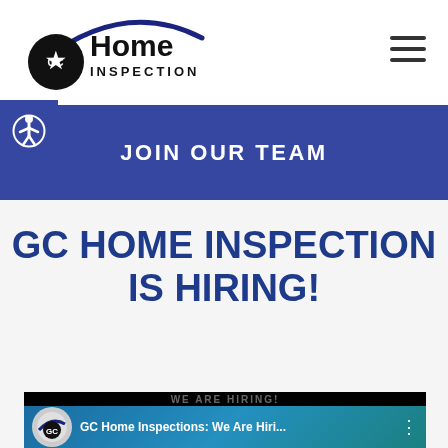[Figure (logo): GC Home Inspection logo with star and circular arc design]
JOIN OUR TEAM
GC HOME INSPECTION IS HIRING!
[Figure (screenshot): Video thumbnail showing GC Home Inspections: We Are Hiri... with logo and teal background]